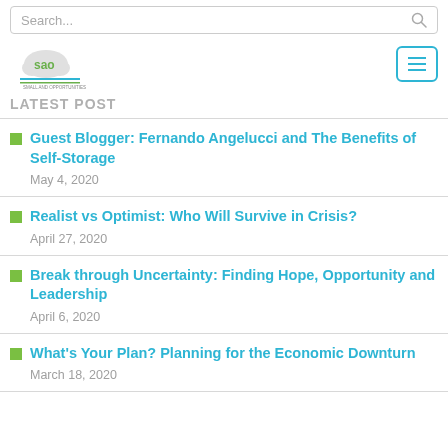Search...
[Figure (logo): SAO Small and Opportunities logo]
LATEST POST
Guest Blogger: Fernando Angelucci and The Benefits of Self-Storage
May 4, 2020
Realist vs Optimist: Who Will Survive in Crisis?
April 27, 2020
Break through Uncertainty: Finding Hope, Opportunity and Leadership
April 6, 2020
What's Your Plan? Planning for the Economic Downturn
March 18, 2020